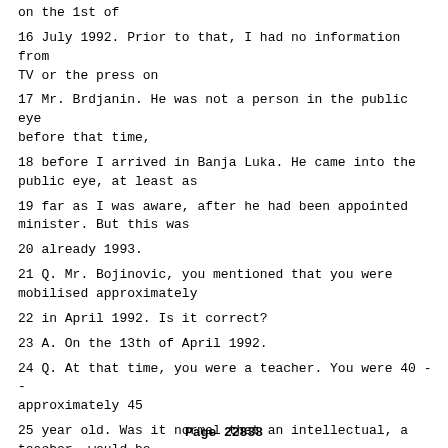on the 1st of
16 July 1992. Prior to that, I had no information from TV or the press on
17 Mr. Brdjanin. He was not a person in the public eye before that time,
18 before I arrived in Banja Luka. He came into the public eye, at least as
19 far as I was aware, after he had been appointed minister. But this was
20 already 1993.
21 Q. Mr. Bojinovic, you mentioned that you were mobilised approximately
22 in April 1992. Is it correct?
23 A. On the 13th of April 1992.
24 Q. At that time, you were a teacher. You were 40 -- approximately 45
25 year old. Was it normal that an intellectual, a teacher, would be
Page 22838